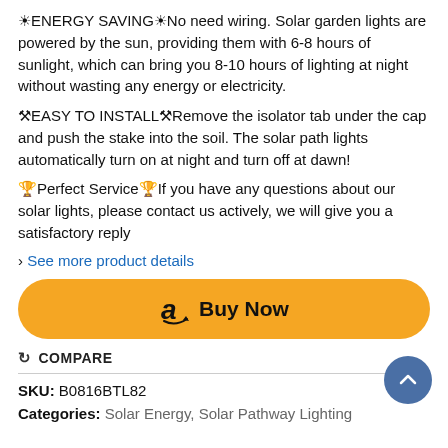🔆ENERGY SAVING🔆No need wiring. Solar garden lights are powered by the sun, providing them with 6-8 hours of sunlight, which can bring you 8-10 hours of lighting at night without wasting any energy or electricity.
🔧EASY TO INSTALL🔧Remove the isolator tab under the cap and push the stake into the soil. The solar path lights automatically turn on at night and turn off at dawn!
🏆Perfect Service🏆If you have any questions about our solar lights, please contact us actively, we will give you a satisfactory reply
› See more product details
[Figure (other): Orange Amazon Buy Now button with Amazon logo]
⟳ COMPARE
SKU: B0816BTL82
Categories: Solar Energy, Solar Pathway Lighting